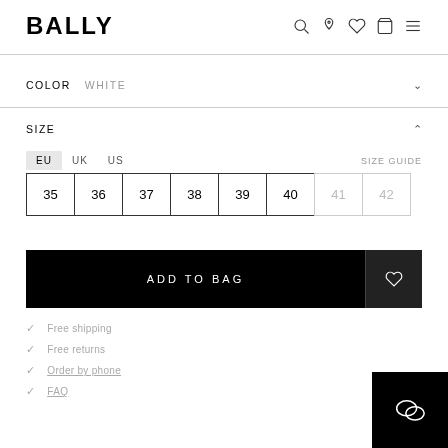BALLY
COLOR  WHITE
SIZE
EU  UK  US  SIZE GUIDE
| 35 | 36 | 37 | 38 | 39 | 40 | 41 | 42 |
| --- | --- | --- | --- | --- | --- | --- | --- |
ADD TO BAG
Free shipping
Free returns
Order by phone
FAQ
[Figure (other): Chat support widget icon]